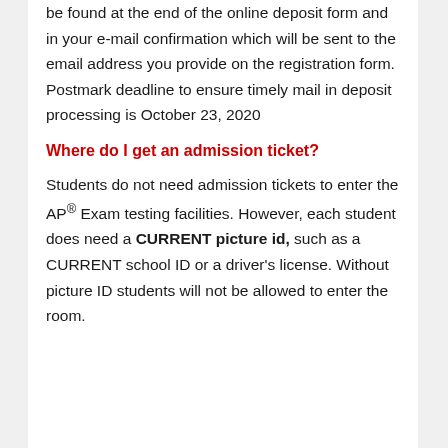be found at the end of the online deposit form and in your e-mail confirmation which will be sent to the email address you provide on the registration form. Postmark deadline to ensure timely mail in deposit processing is October 23, 2020
Where do I get an admission ticket?
Students do not need admission tickets to enter the AP® Exam testing facilities. However, each student does need a CURRENT picture id, such as a CURRENT school ID or a driver's license. Without picture ID students will not be allowed to enter the room.